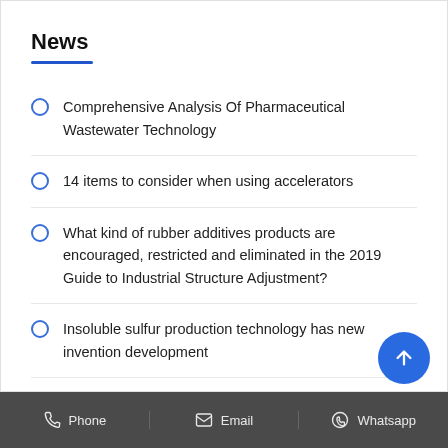News
Comprehensive Analysis Of Pharmaceutical Wastewater Technology
14 items to consider when using accelerators
What kind of rubber additives products are encouraged, restricted and eliminated in the 2019 Guide to Industrial Structure Adjustment?
Insoluble sulfur production technology has new invention development
Applications of Polyacrylamide
Phone   Email   Whatsapp